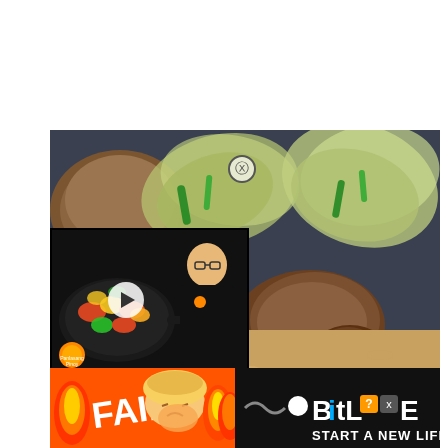[Figure (photo): Close-up food photo of a gourmet dish with fried rice topped with meat patties, crispy tempura-style fried greens/herbs, served on a dark background]
[Figure (screenshot): Video overlay thumbnail showing a man in black shirt next to a pan of colorful stir-fried vegetables with tofu, with a play button in the center. Logo reads 'Panlasang Pinoy']
[Figure (screenshot): Advertisement banner for BitLife game with 'FAIL' text, fire graphics, animated character, and tagline 'START A NEW LIFE']